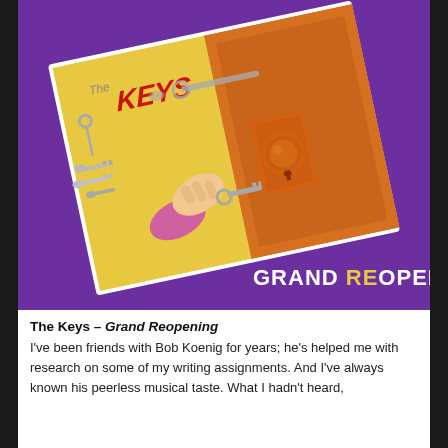[Figure (illustration): Album cover for 'The Keys – Grand Reopening'. Purple background with a tilted white-bordered card showing a hand inserting a key into an orange door knob/lock plate, with a yellow door panel visible. Keys on a keyring hang in the upper left. 'The Keys' logo appears in red at the top. Text 'GRAND REOPENING' in bold white and yellow at the bottom right of the card.]
The Keys – Grand Reopening
I've been friends with Bob Koenig for years; he's helped me with research on some of my writing assignments. And I've always known his peerless musical taste. What I hadn't heard,